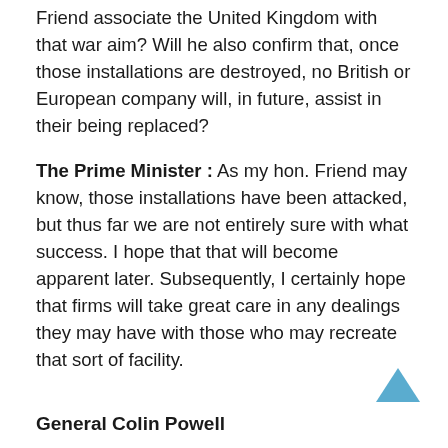Friend associate the United Kingdom with that war aim? Will he also confirm that, once those installations are destroyed, no British or European company will, in future, assist in their being replaced?
The Prime Minister : As my hon. Friend may know, those installations have been attacked, but thus far we are not entirely sure with what success. I hope that that will become apparent later. Subsequently, I certainly hope that firms will take great care in any dealings they may have with those who may recreate that sort of facility.
General Colin Powell
Q3. Mr. Dalyell : To ask the Prime Minister on how